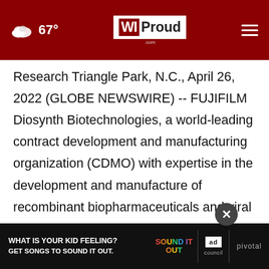67° WIProud.com
Research Triangle Park, N.C., April 26, 2022 (GLOBE NEWSWIRE) -- FUJIFILM Diosynth Biotechnologies, a world-leading contract development and manufacturing organization (CDMO) with expertise in the development and manufacture of recombinant biopharmaceuticals and viral gene therapies, held a groundbreaking ceremony for the expansion of its BioProcess Innovation Center in Research Triangle Park on April 26, 2022.
[Figure (screenshot): Advertisement banner: WHAT IS YOUR KID FEELING? GET SONGS TO SOUND IT OUT. Sound It Out / Ad Council / Pivotal]